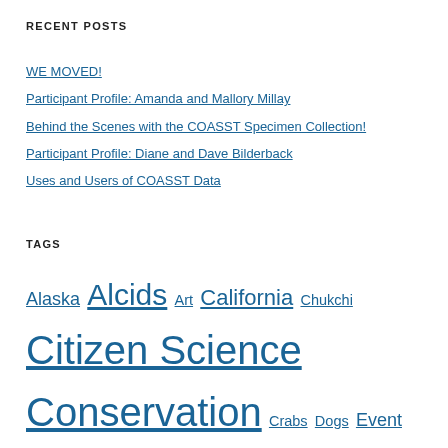RECENT POSTS
WE MOVED!
Participant Profile: Amanda and Mallory Millay
Behind the Scenes with the COASST Specimen Collection!
Participant Profile: Diane and Dave Bilderback
Uses and Users of COASST Data
TAGS
Alaska Alcids Art California Chukchi Citizen Science Conservation Crabs Dogs Event Field Trip Fish Fisheries Foot-type Family Hawaii HAZWOPER Humboldt Interns Invertebrates Japanese Tsunami Land Birds Larids Marine Debris Marine Mammal North Coast Oregon Perching Birds Pouchbills Seabird